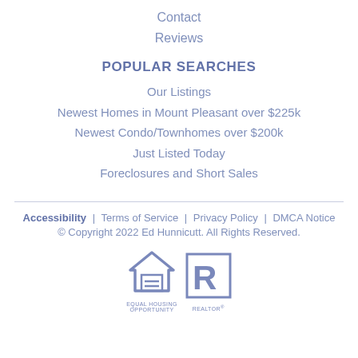Contact
Reviews
POPULAR SEARCHES
Our Listings
Newest Homes in Mount Pleasant over $225k
Newest Condo/Townhomes over $200k
Just Listed Today
Foreclosures and Short Sales
Accessibility | Terms of Service | Privacy Policy | DMCA Notice © Copyright 2022 Ed Hunnicutt. All Rights Reserved.
[Figure (logo): Equal Housing Opportunity logo and REALTOR logo side by side]